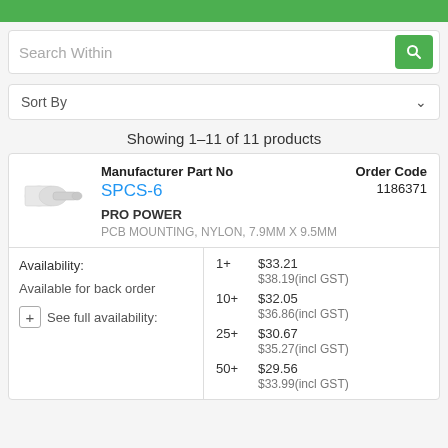Search Within
Sort By
Showing 1–11 of 11 products
| Manufacturer Part No | Order Code |
| --- | --- |
| SPCS-6 | 1186371 |
| PRO POWER |  |
| PCB MOUNTING, NYLON, 7.9MM X 9.5MM |  |
Availability:
Available for back order
+ See full availability:
| Qty | Price |
| --- | --- |
| 1+ | $33.21 |
|  | $38.19(incl GST) |
| 10+ | $32.05 |
|  | $36.86(incl GST) |
| 25+ | $30.67 |
|  | $35.27(incl GST) |
| 50+ | $29.56 |
|  | $33.99(incl GST) |